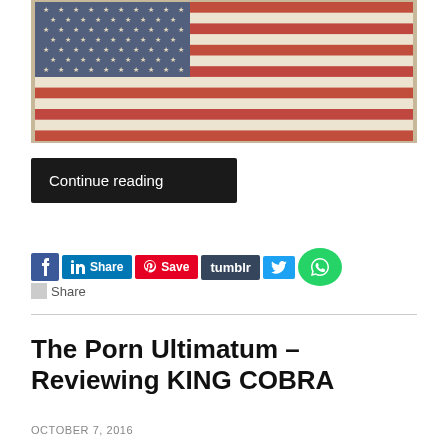[Figure (photo): A rustic wooden American flag with red, white and blue paint, hung against beige horizontal siding. The flag appears weathered and distressed.]
Continue reading
[Figure (infographic): Social sharing buttons row: Facebook, LinkedIn Share, Pinterest Save, Tumblr, Twitter, WhatsApp]
[Figure (infographic): Share icon and Share text link]
The Porn Ultimatum – Reviewing KING COBRA
OCTOBER 7, 2016